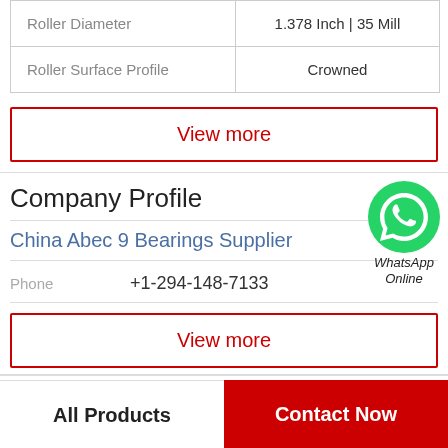| Roller Diameter | 1.378 Inch | 35 Mill |
| Roller Surface Profile | Crowned |
View more
Company Profile
[Figure (logo): WhatsApp green phone icon with text 'WhatsApp Online']
China Abec 9 Bearings Supplier
Phone   +1-294-148-7133
View more
All Products   Contact Now